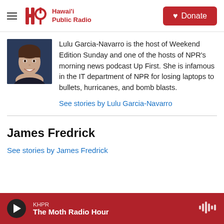Hawai'i Public Radio — Donate
[Figure (photo): Headshot photo of Lulu Garcia-Navarro, smiling, dark background]
Lulu Garcia-Navarro is the host of Weekend Edition Sunday and one of the hosts of NPR's morning news podcast Up First. She is infamous in the IT department of NPR for losing laptops to bullets, hurricanes, and bomb blasts.
See stories by Lulu Garcia-Navarro
James Fredrick
See stories by James Fredrick
KHPR — The Moth Radio Hour